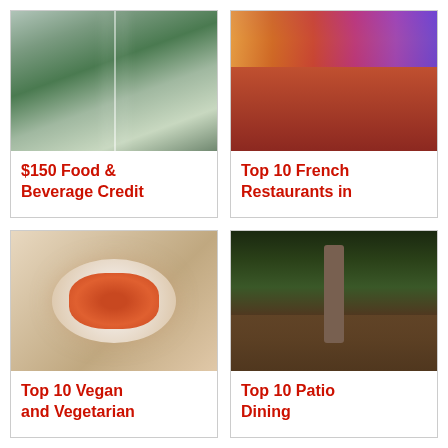[Figure (photo): Indoor waterfall or water feature with green plants and modern architecture]
$150 Food & Beverage Credit
[Figure (photo): Colorful decorated restaurant interior with draped ceiling in red, yellow, purple colors and dining tables]
Top 10 French Restaurants in
[Figure (photo): Plate of pasta with tomato sauce and garnish on white plate, Jada restaurant]
Top 10 Vegan and Vegetarian
[Figure (photo): Outdoor patio dining area at night with trees lit up and tables set for dinner]
Top 10 Patio Dining